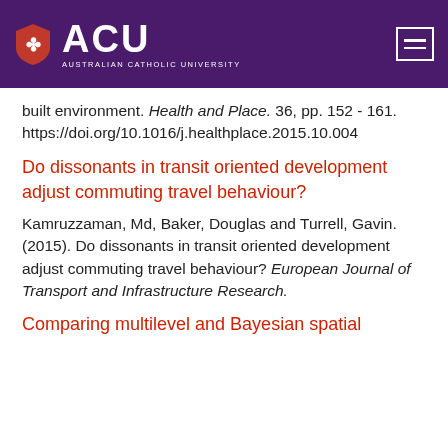ACU Australian Catholic University
built environment. Health and Place. 36, pp. 152 - 161. https://doi.org/10.1016/j.healthplace.2015.10.004
Do dissonants in transit oriented development adjust commuting travel behaviour?
Kamruzzaman, Md, Baker, Douglas and Turrell, Gavin. (2015). Do dissonants in transit oriented development adjust commuting travel behaviour? European Journal of Transport and Infrastructure Research.
Comparing multilevel and Bayesian spatial random effects on simulated data bt